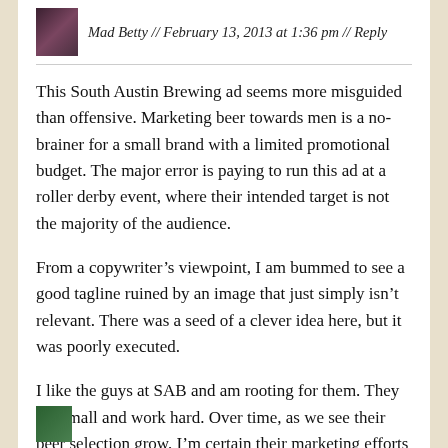Mad Betty // February 13, 2013 at 1:36 pm // Reply
This South Austin Brewing ad seems more misguided than offensive. Marketing beer towards men is a no-brainer for a small brand with a limited promotional budget. The major error is paying to run this ad at a roller derby event, where their intended target is not the majority of the audience.
From a copywriter’s viewpoint, I am bummed to see a good tagline ruined by an image that just simply isn’t relevant. There was a seed of a clever idea here, but it was poorly executed.
I like the guys at SAB and am rooting for them. They are small and work hard. Over time, as we see their beer selection grow, I’m certain their marketing efforts will improve, too.